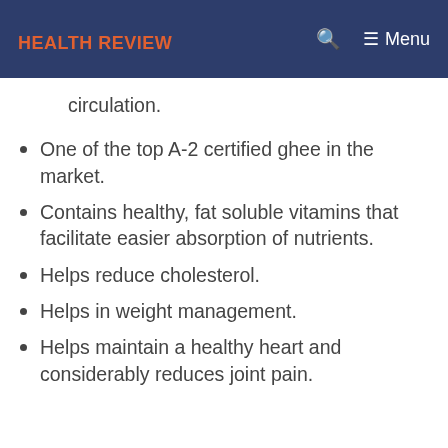HEALTH REVIEW  Menu
circulation.
One of the top A-2 certified ghee in the market.
Contains healthy, fat soluble vitamins that facilitate easier absorption of nutrients.
Helps reduce cholesterol.
Helps in weight management.
Helps maintain a healthy heart and considerably reduces joint pain.